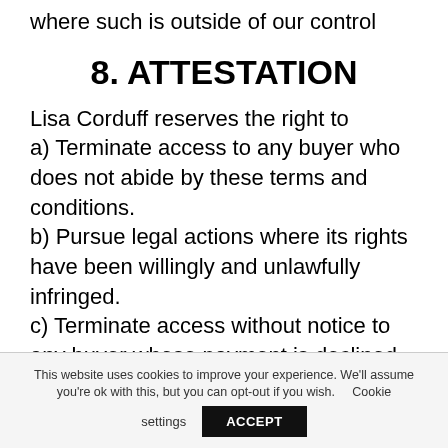where such is outside of our control
8. ATTESTATION
Lisa Corduff reserves the right to
a) Terminate access to any buyer who does not abide by these terms and conditions.
b) Pursue legal actions where its rights have been willingly and unlawfully infringed.
c) Terminate access without notice to any buyer whose payment is declined or in some way retracted or denied.
This website uses cookies to improve your experience. We'll assume you're ok with this, but you can opt-out if you wish.   Cookie settings   ACCEPT